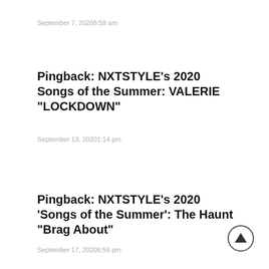September 7, 20208:59 am
Pingback: NXTSTYLE's 2020 Songs of the Summer: VALERIE "LOCKDOWN"
September 13, 20201:14 pm
Pingback: NXTSTYLE's 2020 'Songs of the Summer': The Haunt "Brag About"
September 17, 20206:56 pm